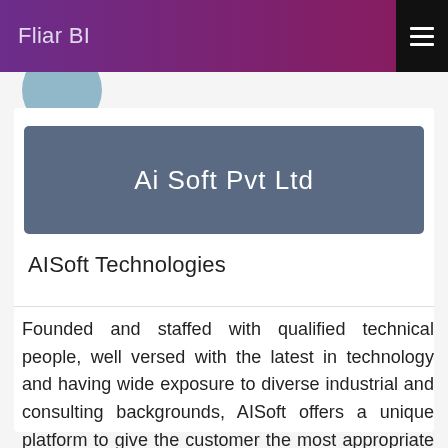Fliar BI
[Figure (illustration): Circular avatar/profile image in light blue-grey color, partially visible at top of content area]
Ai Soft Pvt Ltd
AISoft Technologies
Founded and staffed with qualified technical people, well versed with the latest in technology and having wide exposure to diverse industrial and consulting backgrounds, AISoft offers a unique platform to give the customer the most appropriate solution to achieve his goals. Ai Soft Pvt Ltd established by Changavi Lingappa Viswanath, Mathurathinam Jayaraman and Rukmani Jayaraman on 15-04-1994 and consulting service provider company Ai Soft Pvt